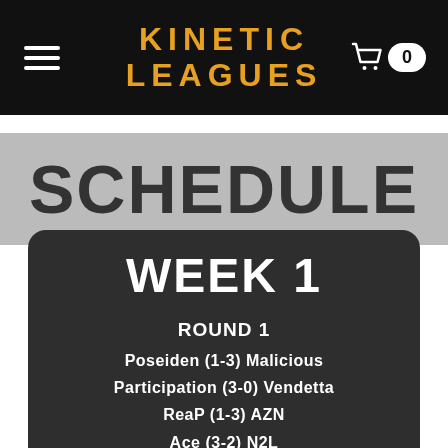KINETIC LEAGUES
SCHEDULE
WEEK 1
ROUND 1
Poseiden (1-3) Malicious
Participation (3-0) Vendetta
ReaP (1-3) AZN
Ace (3-2) N2L
Vast (3-0) cLaw
Killabyte (3-0) FW1
DNR (0-3) Phoenix